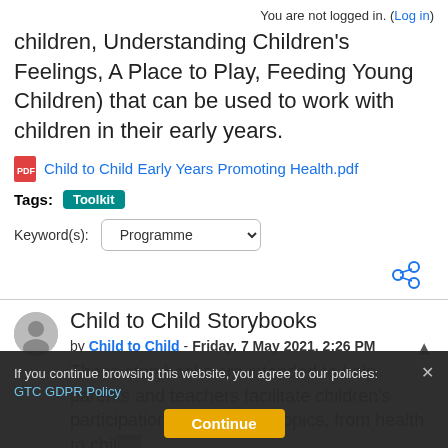You are not logged in. (Log in)
children, Understanding Children's Feelings, A Place to Play, Feeding Young Children) that can be used to work with children in their early years.
Child to Child Early Years Promoting Health.pdf
Tags: Toolkit
Keyword(s): Programme
Child to Child Storybooks
by Child to Child - Friday, 7 May 2021, 2:26 PM
These storybooks are intended to help parents and teachers facilitate children's participation in a range of topics, from health to child...
Who Killed Da...
If you continue browsing this website, you agree to our policies: GTC GDPR Policy
Continue